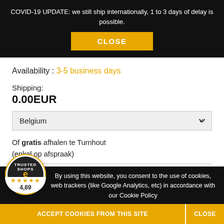COVID-19 UPDATE: we still ship internationally, 1 to 3 days of delay is possible.
CLOSE
Availability : 3-5 business days
Shipping:
0.00EUR
Belgium
Of gratis afhalen te Turnhout (enkel op afspraak)
[Figure (logo): Trusted Shops e-guarantee circular badge logo with stars and rating 4.69]
By using this website, you consent to the use of cookies, web trackers (like Google Analytics, etc) in accordance with our Cookie Policy
ACCEPT COOKIES FROM THIS SITE
CLOSE